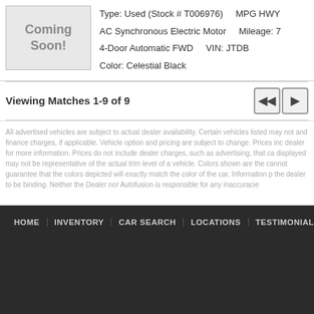[Figure (photo): Coming Soon! vehicle image placeholder with light gray background]
Type: Used (Stock # T006976)   MPG HWY
AC Synchronous Electric Motor   Mileage: 7
4-Door Automatic FWD   VIN: JTDB
Color: Celestial Black
Viewing Matches 1-9 of 9
All advertised vehicles are subject to actual dealer availability. Certain vehicles listed may not and finance charges, if applicable. Vehicle option and pricing are subject to change. Prices inc dealer for more information. Prices do not include dealer charges, such as advertising, that ca displayed may not be representative of the actual trim level of a vehicle. Colors shown are the cannot guarantee that the colors depicted will exactly match the color of the car. Information p the dealer to be binding. Neither the Dealer nor Autofusion is responsible for any inaccuracie
HOME   INVENTORY   CAR SEARCH   LOCATIONS   TESTIMONIALS   ABOUT US   C